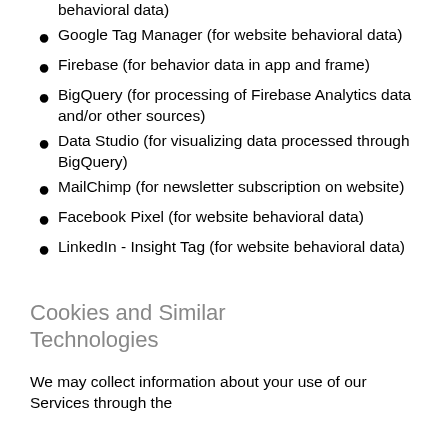behavioral data)
Google Tag Manager (for website behavioral data)
Firebase (for behavior data in app and frame)
BigQuery (for processing of Firebase Analytics data and/or other sources)
Data Studio (for visualizing data processed through BigQuery)
MailChimp (for newsletter subscription on website)
Facebook Pixel (for website behavioral data)
LinkedIn - Insight Tag (for website behavioral data)
Cookies and Similar Technologies
We may collect information about your use of our Services through the